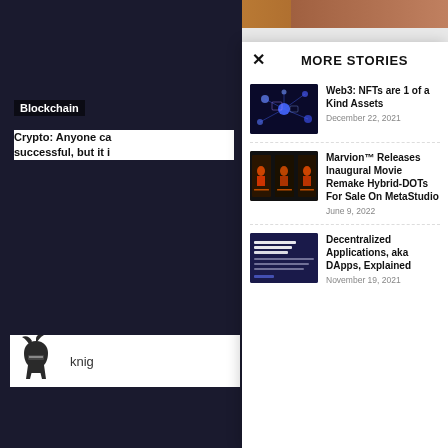Blockchain
Crypto: Anyone ca successful, but it i
knig
MORE STORIES
Web3: NFTs are 1 of a Kind Assets
December 22, 2021
Marvion™ Releases Inaugural Movie Remake Hybrid-DOTs For Sale On MetaStudio
June 9, 2022
Decentralized Applications, aka DApps, Explained
November 19, 2021